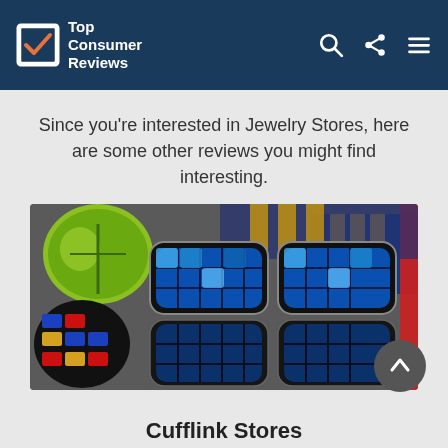Top Consumer Reviews
Since you're interested in Jewelry Stores, here are some other reviews you might find interesting.
[Figure (photo): Close-up photo of colorful cufflinks including blue geometric patterned cufflinks in the center, round multicolored cufflinks on the left, and striped cufflinks in the background]
Cufflink Stores